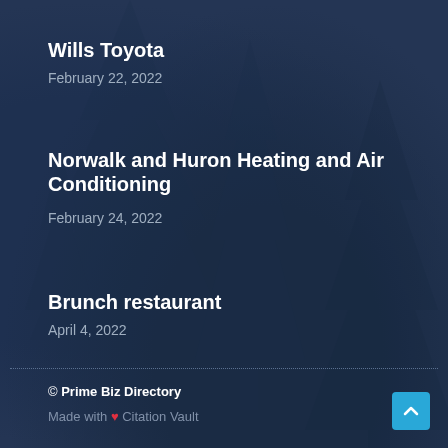Wills Toyota
February 22, 2022
Norwalk and Huron Heating and Air Conditioning
February 24, 2022
Brunch restaurant
April 4, 2022
© Prime Biz Directory
Made with ❤ Citation Vault